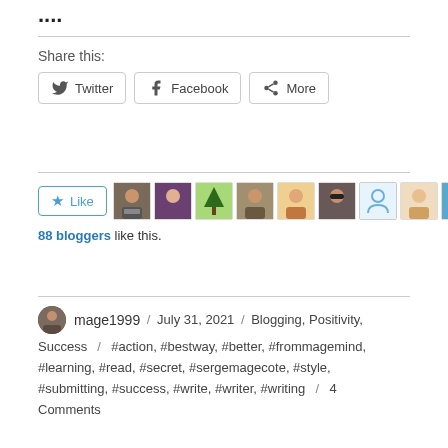....
Share this:
Twitter  Facebook  More
88 bloggers like this.
mage1999 / July 31, 2021 / Blogging, Positivity, Success / #action, #bestway, #better, #frommagemind, #learning, #read, #secret, #sergemagecote, #style, #submitting, #success, #write, #writer, #writing / 4 Comments